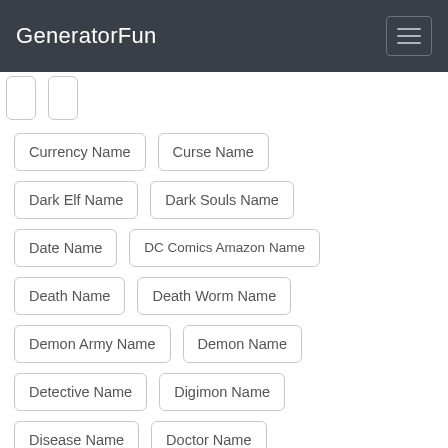GeneratorFun
Currency Name
Curse Name
Dark Elf Name
Dark Souls Name
Date Name
DC Comics Amazon Name
Death Name
Death Worm Name
Demon Army Name
Demon Name
Detective Name
Digimon Name
Disease Name
Doctor Name
Dracaenae Name
Dragon Name
Dragonkin Name